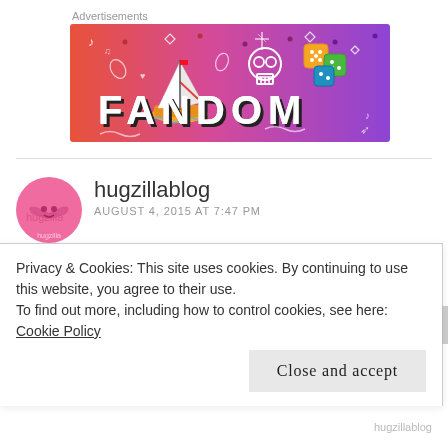Advertisements
[Figure (illustration): Fandom advertisement banner with gradient orange to purple background, featuring a sailboat, skull, dice, and the word FANDOM in large letters with decorative doodles]
hugzillablog
AUGUST 4, 2015 AT 7:47 PM
Privacy & Cookies: This site uses cookies. By continuing to use this website, you agree to their use.
To find out more, including how to control cookies, see here: Cookie Policy
Close and accept